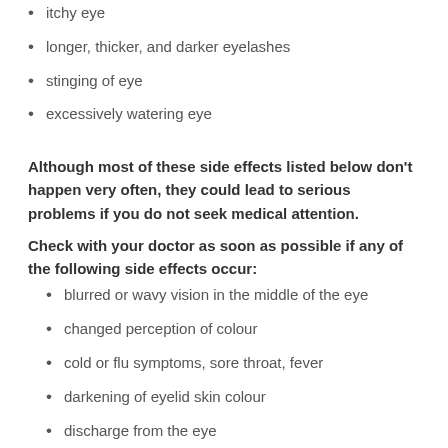itchy eye
longer, thicker, and darker eyelashes
stinging of eye
excessively watering eye
Although most of these side effects listed below don't happen very often, they could lead to serious problems if you do not seek medical attention.
Check with your doctor as soon as possible if any of the following side effects occur:
blurred or wavy vision in the middle of the eye
changed perception of colour
cold or flu symptoms, sore throat, fever
darkening of eyelid skin colour
discharge from the eye
double-vision
eye irritation from eyelashes growing in the wrong direction